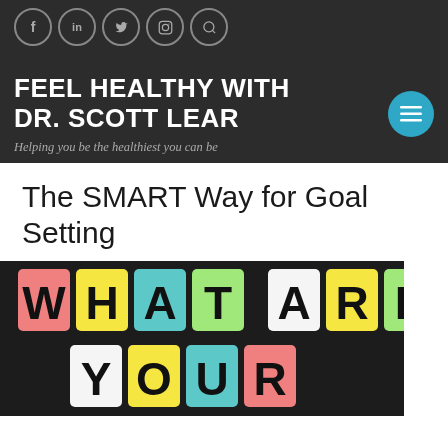Social icons: Facebook, LinkedIn, Twitter, Instagram, Search
FEEL HEALTHY WITH DR. SCOTT LEAR
Helping you be the healthiest you can be
The SMART Way for Goal Setting
[Figure (photo): Chalkboard with colorful letter tiles spelling out WHAT ARE YOUR (goals)]